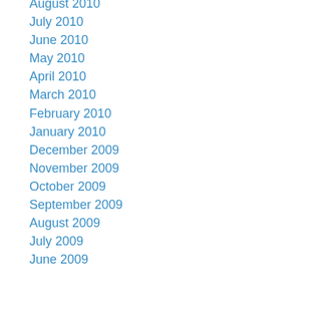August 2010
July 2010
June 2010
May 2010
April 2010
March 2010
February 2010
January 2010
December 2009
November 2009
October 2009
September 2009
August 2009
July 2009
June 2009